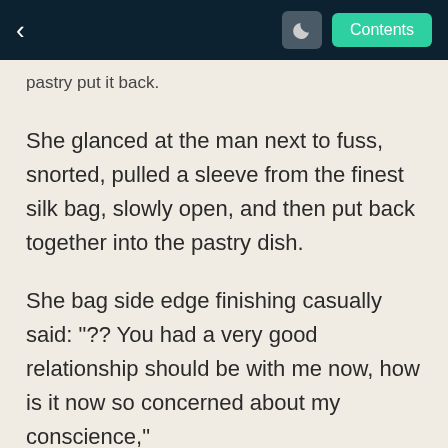< [moon] Contents
pastry put it back.
She glanced at the man next to fuss, snorted, pulled a sleeve from the finest silk bag, slowly open, and then put back together into the pastry dish.
She bag side edge finishing casually said: "?? You had a very good relationship should be with me now, how is it now so concerned about my conscience,"
Lu Qian was waiting surprised a moment, do not answer rhetorical question: "? You do not do not remember, how we used to know a bad relationship."